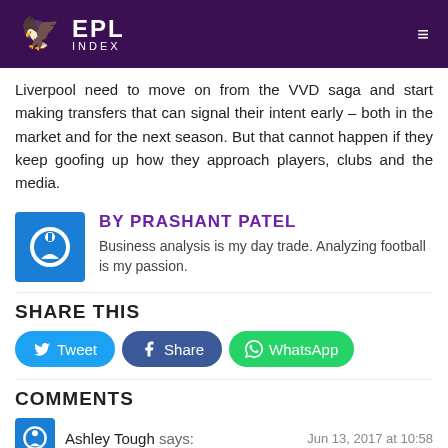EPL Index
Liverpool need to move on from the VVD saga and start making transfers that can signal their intent early – both in the market and for the next season. But that cannot happen if they keep goofing up how they approach players, clubs and the media.
BY PRASHANT PATEL
Business analysis is my day trade. Analyzing football is my passion.
SHARE THIS
Tweet  Share  WhatsApp
COMMENTS
Ashley Tough says:
Jun 13, 2017 at 10:58